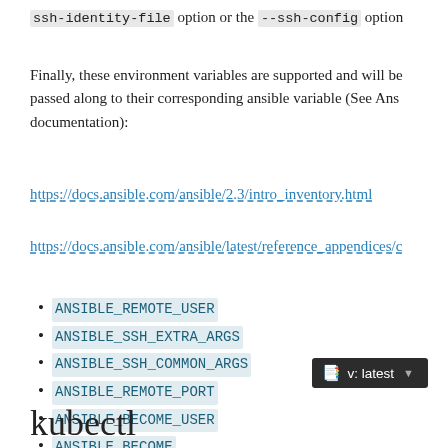ssh-identity-file option or the --ssh-config option
Finally, these environment variables are supported and will be passed along to their corresponding ansible variable (See Ansible documentation):
https://docs.ansible.com/ansible/2.3/intro_inventory.html
https://docs.ansible.com/ansible/latest/reference_appendices/c
ANSIBLE_REMOTE_USER
ANSIBLE_SSH_EXTRA_ARGS
ANSIBLE_SSH_COMMON_ARGS
ANSIBLE_REMOTE_PORT
ANSIBLE_BECOME_USER
ANSIBLE_BECOME
v: latest
kubectl